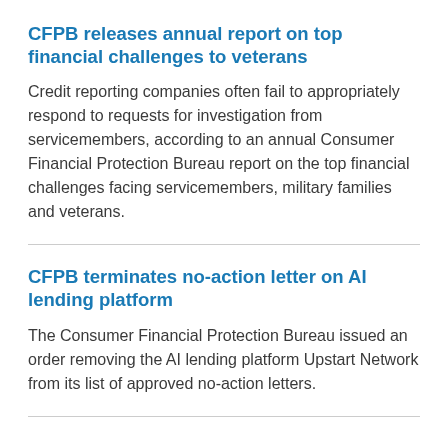CFPB releases annual report on top financial challenges to veterans
Credit reporting companies often fail to appropriately respond to requests for investigation from servicemembers, according to an annual Consumer Financial Protection Bureau report on the top financial challenges facing servicemembers, military families and veterans.
CFPB terminates no-action letter on AI lending platform
The Consumer Financial Protection Bureau issued an order removing the AI lending platform Upstart Network from its list of approved no-action letters.